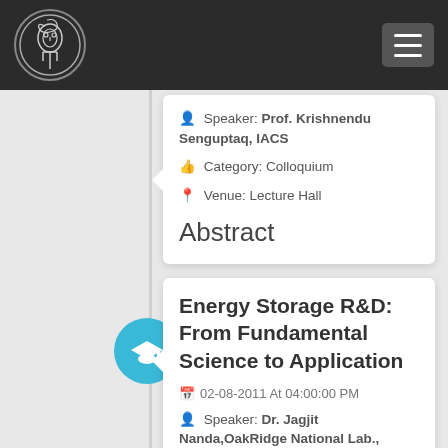Institution logo and navigation header
Speaker: Prof. Krishnendu Senguptaq, IACS
Category: Colloquium
Venue: Lecture Hall
Abstract
Energy Storage R&D: From Fundamental Science to Application
02-08-2011 At 04:00:00 PM
Speaker: Dr. Jagjit Nanda,OakRidge National Lab., OakRidge, USA
Category: General Seminar